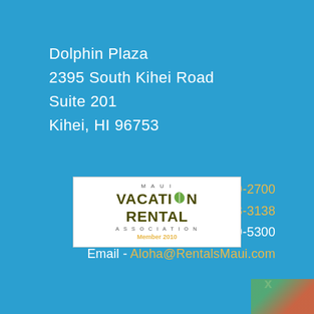Dolphin Plaza
2395 South Kihei Road
Suite 201
Kihei, HI 96753
In Hawaii - (808) 879-2700
Toll Free - (800) 808-3138
Fax - (808) 879-5300
Email - Aloha@RentalsMaui.com
[Figure (logo): Maui Vacation Rental Association Member 2010 logo in white box]
X